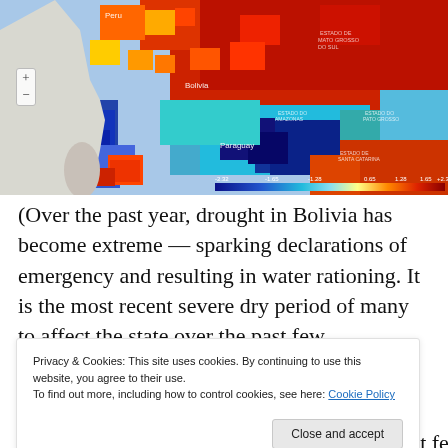[Figure (map): Color satellite/remote sensing map showing drought conditions over South America (Bolivia, Paraguay, Brazil region). Color scale from deep blue (wet/positive anomaly) to deep red (dry/negative anomaly). Scale bar at bottom shows values from -2.32 to +2.32. Zoom +/- controls visible on left side. Labels for Peru, Bolivia, Paraguay visible.]
(Over the past year, drought in Bolivia has become extreme — sparking declarations of emergency and resulting in water rationing. It is the most recent severe dry period of many to affect the state over the past few
Privacy & Cookies: This site uses cookies. By continuing to use this website, you agree to their use.
To find out more, including how to control cookies, see here: Cookie Policy
Close and accept